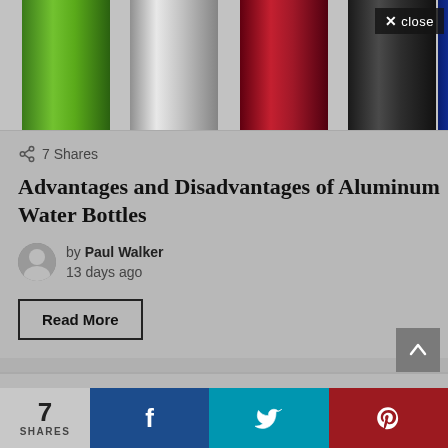[Figure (photo): Five aluminum water bottles in different colors: green, silver, dark red/maroon, black, and blue, displayed on a gray background. Partially cropped at top.]
✕ close
7 Shares
Advantages and Disadvantages of Aluminum Water Bottles
by Paul Walker
13 days ago
Read More
7
SHARES
[Figure (logo): Facebook icon (f) on dark blue background]
[Figure (logo): Twitter bird icon on teal/cyan background]
[Figure (logo): Pinterest (p) icon on dark red background]